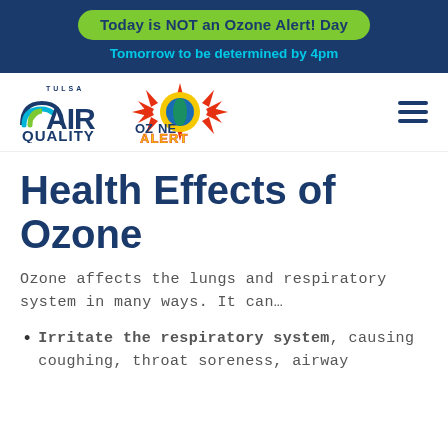Today is NOT an Ozone Alert! Day
Tomorrow to be determined by 4pm
[Figure (logo): Tulsa Air Quality and Ozone Alert logos with hamburger menu]
Health Effects of Ozone
Ozone affects the lungs and respiratory system in many ways. It can…
Irritate the respiratory system, causing coughing, throat soreness, airway